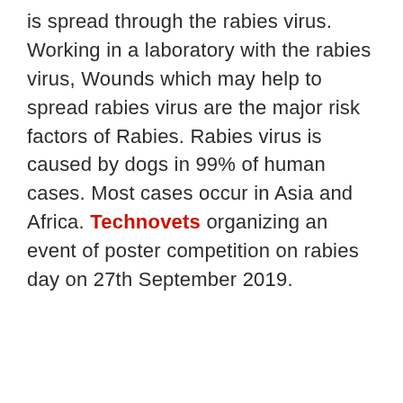is spread through the rabies virus. Working in a laboratory with the rabies virus, Wounds which may help to spread rabies virus are the major risk factors of Rabies. Rabies virus is caused by dogs in 99% of human cases. Most cases occur in Asia and Africa. Technovets organizing an event of poster competition on rabies day on 27th September 2019.